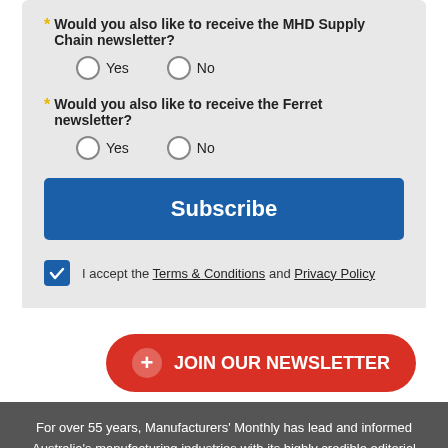* Would you also like to receive the MHD Supply Chain newsletter?
Yes   No (radio buttons)
* Would you also like to receive the Ferret newsletter?
Yes   No (radio buttons)
Subscribe
I accept the Terms & Conditions and Privacy Policy
+ JOIN OUR NEWSLETTER
For over 55 years, Manufacturers' Monthly has lead and informed Australia's manufacturing industries with its highly credible editorial environment and its acclaimed analysis of issues affecting manufacturing